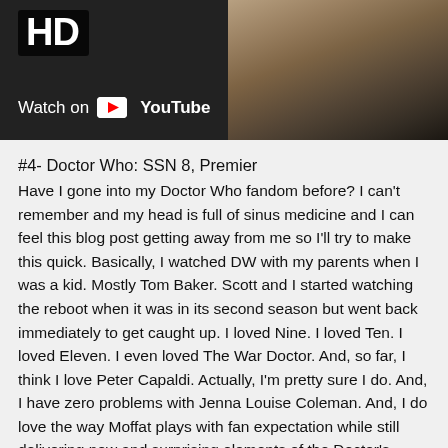[Figure (screenshot): YouTube video thumbnail showing 'HD' badge in top left, 'Watch on YouTube' button with play icon in bottom left, and a food/sushi preparation scene on the right side with dark background.]
#4- Doctor Who: SSN 8, Premier
Have I gone into my Doctor Who fandom before? I can't remember and my head is full of sinus medicine and I can feel this blog post getting away from me so I'll try to make this quick. Basically, I watched DW with my parents when I was a kid. Mostly Tom Baker. Scott and I started watching the reboot when it was in its second season but went back immediately to get caught up. I loved Nine. I loved Ten. I loved Eleven. I even loved The War Doctor. And, so far, I think I love Peter Capaldi. Actually, I'm pretty sure I do. And, I have zero problems with Jenna Louise Coleman. And, I do love the way Moffat plays with fan expectation while still delivering new and surprising elements of the Doctor's personality. I also love the score and I love how beautiful and cinematic everything is. But... I also kind of feel like it's gone off the rails. When Moffat first came aboard, I worried that full seasons of his work would be like eating cake icing. A